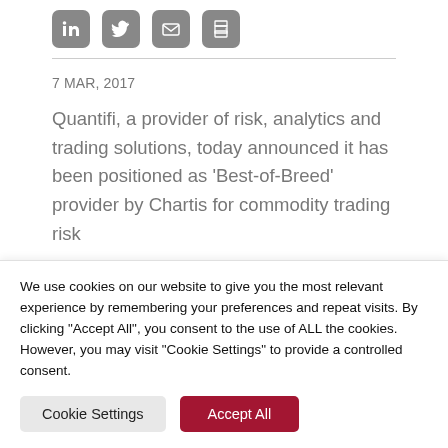[Figure (other): Social sharing icons: LinkedIn, Twitter, Email, Print — grey rounded square buttons]
7 MAR, 2017
Quantifi, a provider of risk, analytics and trading solutions, today announced it has been positioned as 'Best-of-Breed' provider by Chartis for commodity trading risk
We use cookies on our website to give you the most relevant experience by remembering your preferences and repeat visits. By clicking "Accept All", you consent to the use of ALL the cookies. However, you may visit "Cookie Settings" to provide a controlled consent.
Cookie Settings
Accept All